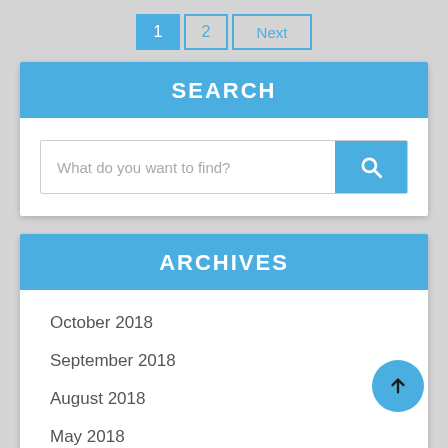1  2  Next
SEARCH
What do you want to find?
ARCHIVES
October 2018
September 2018
August 2018
May 2018
April 2018